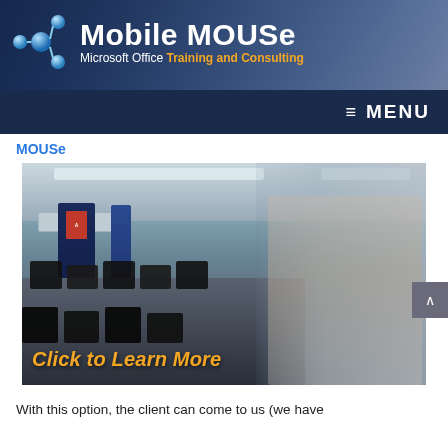[Figure (logo): Mobile MOUSe logo with blue molecular icon and text 'Mobile MOUSe - Microsoft Office Training and Consulting' on a dark blue banner with people in the background]
≡ MENU
MOUSe
[Figure (photo): Classroom with computers on desks, Microsoft office banners, and a smiling woman giving thumbs up on the right side. Text overlay reads 'Click to Learn More']
With this option, the client can come to us (we have